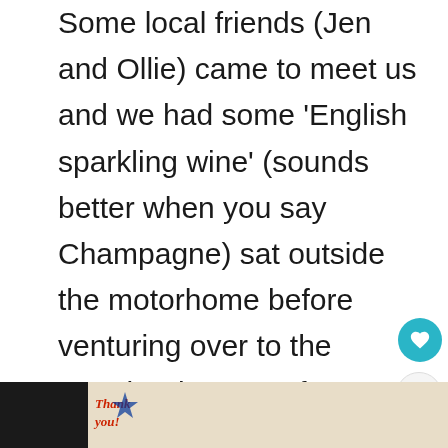Some local friends (Jen and Ollie) came to meet us and we had some 'English sparkling wine' (sounds better when you say Champagne) sat outside the motorhome before venturing over to the Knockerdown Inn for dinner. One of the benefits of parking up near a rural pub!
On the Sunday we were eager to get out on an adventure, and have a drive in the Peak District. Here's the map of our adventures if you want to see our route.
[Figure (other): Advertisement banner at bottom of page showing 'Thank you!' text with American flag motif and firefighters group photo, Operation Gratitude logo]